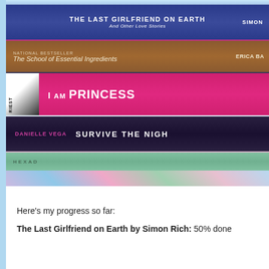[Figure (photo): A stack of books photographed on a colorful carpet. Books visible include: 'The Last Girlfriend on Earth and Other Love Stories' by Simon Rich (blue cover), 'The School of Essential Ingredients' by Erica Bauermeister (brown cover, National Bestseller), 'I Am Princess X' (pink cover), 'Survive the Night' by Danielle Vega (dark purple cover), 'HEXAD' (teal/green strip). Books rest on a multicolored carpet.]
Here's my progress so far:
The Last Girlfriend on Earth by Simon Rich: 50% done